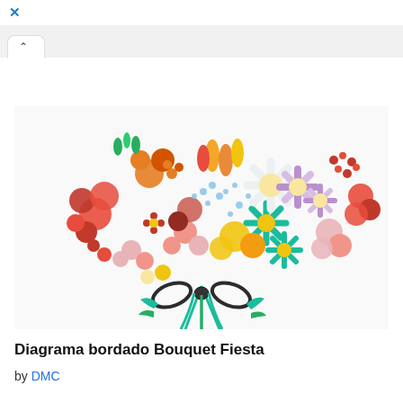[Figure (screenshot): Browser top bar with blue X close button]
[Figure (screenshot): Browser tab with up arrow chevron]
[Figure (photo): Colorful embroidery of a flower bouquet with various flowers in red, orange, yellow, pink, blue, purple, and teal, tied with a dark bow, on a white background. DMC embroidery pattern called Bouquet Fiesta.]
Diagrama bordado Bouquet Fiesta
by DMC